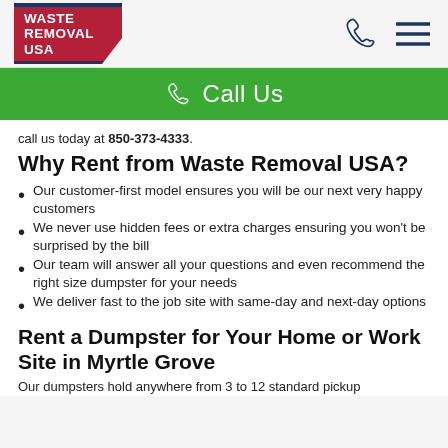[Figure (logo): Waste Removal USA logo with red background, white bold text reading WASTE REMOVAL USA, dark blue top and bottom borders, and a white triangle in the lower right corner]
[Figure (other): Phone handset icon (outline) and hamburger menu icon (three horizontal lines) in the top right navigation area]
Call Us
call us today at 850-373-4333.
Why Rent from Waste Removal USA?
Our customer-first model ensures you will be our next very happy customers
We never use hidden fees or extra charges ensuring you won't be surprised by the bill
Our team will answer all your questions and even recommend the right size dumpster for your needs
We deliver fast to the job site with same-day and next-day options
Rent a Dumpster for Your Home or Work Site in Myrtle Grove
Our dumpsters hold anywhere from 3 to 12 standard pickup